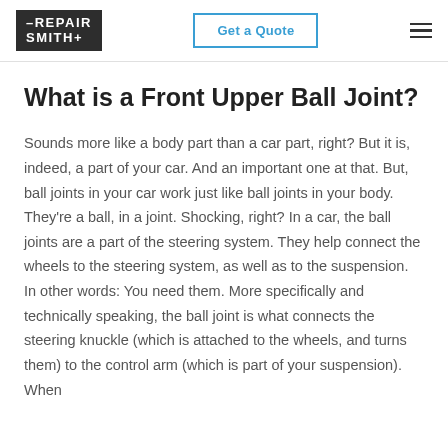RepairSmith | Get a Quote
What is a Front Upper Ball Joint?
Sounds more like a body part than a car part, right? But it is, indeed, a part of your car. And an important one at that. But, ball joints in your car work just like ball joints in your body. They're a ball, in a joint. Shocking, right? In a car, the ball joints are a part of the steering system. They help connect the wheels to the steering system, as well as to the suspension. In other words: You need them. More specifically and technically speaking, the ball joint is what connects the steering knuckle (which is attached to the wheels, and turns them) to the control arm (which is part of your suspension). When